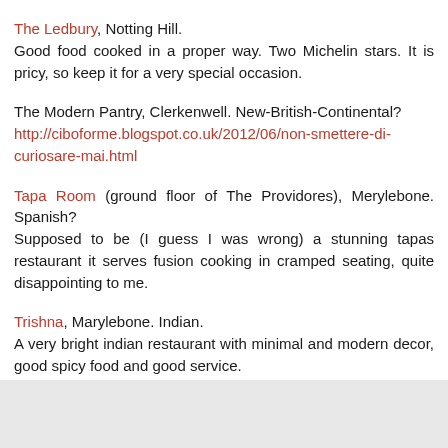The Ledbury, Notting Hill.
Good food cooked in a proper way. Two Michelin stars. It is pricy, so keep it for a very special occasion.
The Modern Pantry, Clerkenwell. New-British-Continental?
http://ciboforme.blogspot.co.uk/2012/06/non-smettere-di-curiosare-mai.html
Tapa Room (ground floor of The Providores), Merylebone. Spanish?
Supposed to be (I guess I was wrong) a stunning tapas restaurant it serves fusion cooking in cramped seating, quite disappointing to me.
Trishna, Marylebone. Indian.
A very bright indian restaurant with minimal and modern decor, good spicy food and good service.